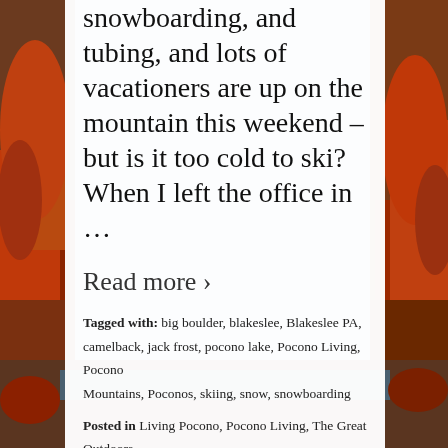snowboarding, and tubing, and lots of vacationers are up on the mountain this weekend – but is it too cold to ski? When I left the office in …
Read more ›
Tagged with: big boulder, blakeslee, Blakeslee PA, camelback, jack frost, pocono lake, Pocono Living, Pocono Mountains, Poconos, skiing, snow, snowboarding
Posted in Living Pocono, Pocono Living, The Great Outdoors